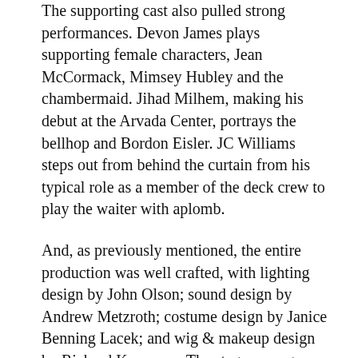The supporting cast also pulled strong performances. Devon James plays supporting female characters, Jean McCormack, Mimsey Hubley and the chambermaid. Jihad Milhem, making his debut at the Arvada Center, portrays the bellhop and Bordon Eisler. JC Williams steps out from behind the curtain from his typical role as a member of the deck crew to play the waiter with aplomb.
And, as previously mentioned, the entire production was well crafted, with lighting design by John Olson; sound design by Andrew Metzroth; costume design by Janice Benning Lacek; and wig & makeup design by Richard Krammes. The stage manager keeping it all running smoothly is Christine Rose Moore.
Black Box Repertory's Plaza Suite is definitely worth a visit, or revisit if you've seen the play